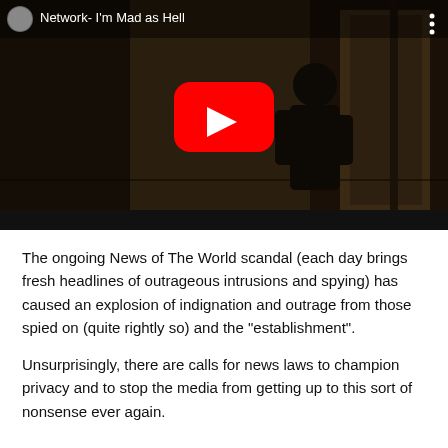[Figure (screenshot): YouTube video thumbnail showing a scene from a dark film/video titled 'Network- I'm Mad as Hell'. A person is visible in a dark corridor. A red YouTube play button is centered on the image.]
The ongoing News of The World scandal (each day brings fresh headlines of outrageous intrusions and spying) has caused an explosion of indignation and outrage from those spied on (quite rightly so) and the "establishment".
Unsurprisingly, there are calls for news laws to champion privacy and to stop the media from getting up to this sort of nonsense ever again.